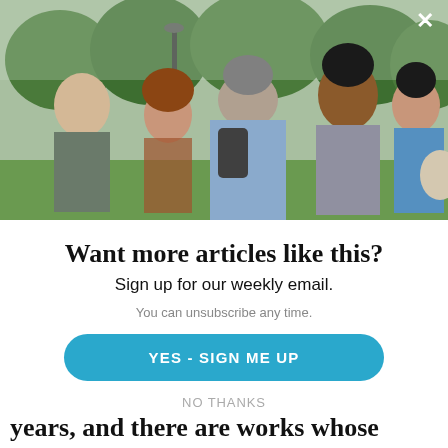[Figure (photo): Group of people having a conversation outdoors in a park setting, lush green trees in background]
Want more articles like this?
Sign up for our weekly email.
You can unsubscribe any time.
YES - SIGN ME UP
NO THANKS
years, and there are works whose